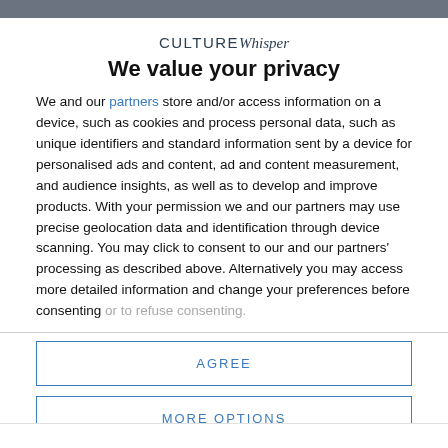CULTURE Whisper
We value your privacy
We and our partners store and/or access information on a device, such as cookies and process personal data, such as unique identifiers and standard information sent by a device for personalised ads and content, ad and content measurement, and audience insights, as well as to develop and improve products. With your permission we and our partners may use precise geolocation data and identification through device scanning. You may click to consent to our and our partners' processing as described above. Alternatively you may access more detailed information and change your preferences before consenting or to refuse consenting.
AGREE
MORE OPTIONS
...